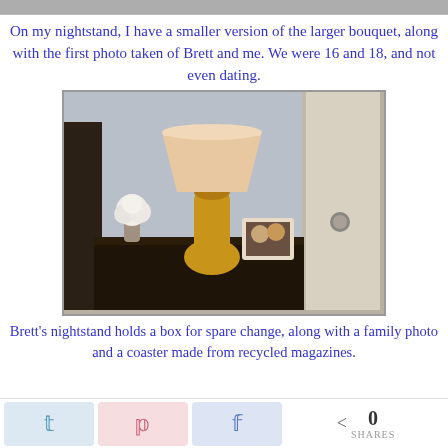[Figure (photo): Partial top of a photo visible as a strip at the top of the page]
On my nightstand, I have a smaller version of the larger bouquet, along with the first photo taken of Brett and me. We were 16 and 18, and not even dating.
[Figure (photo): A nightstand with a large amber glass lamp with a beige shade, a small white flower bouquet in a glass vase, and a framed photo of two young girls. Dark wood nightstand against a light gray wall near a white door.]
Brett's nightstand holds a box for spare change, along with a family photo and a coaster made from recycled magazines.
[Figure (infographic): Social sharing bar with Twitter, Pinterest, and Facebook buttons, and a share count showing 0 SHARES]